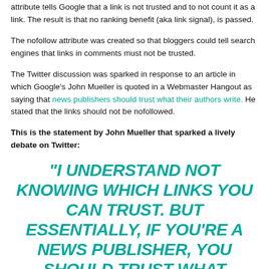attribute tells Google that a link is not trusted and to not count it as a link. The result is that no ranking benefit (aka link signal), is passed.
The nofollow attribute was created so that bloggers could tell search engines that links in comments must not be trusted.
The Twitter discussion was sparked in response to an article in which Google's John Mueller is quoted in a Webmaster Hangout as saying that news publishers should trust what their authors write. He stated that the links should not be nofollowed.
This is the statement by John Mueller that sparked a lively debate on Twitter:
“I UNDERSTAND NOT KNOWING WHICH LINKS YOU CAN TRUST. BUT ESSENTIALLY, IF YOU’RE A NEWS PUBLISHER, YOU SHOULD TRUST WHAT